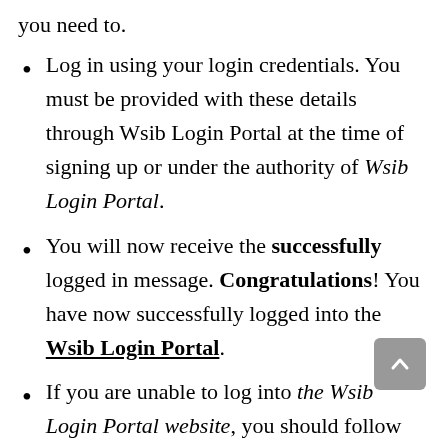you need to.
Log in using your login credentials. You must be provided with these details through Wsib Login Portal at the time of signing up or under the authority of Wsib Login Portal.
You will now receive the successfully logged in message. Congratulations! You have now successfully logged into the Wsib Login Portal.
If you are unable to log into the Wsib Login Portal website, you should follow our troubleshooting procedure that can